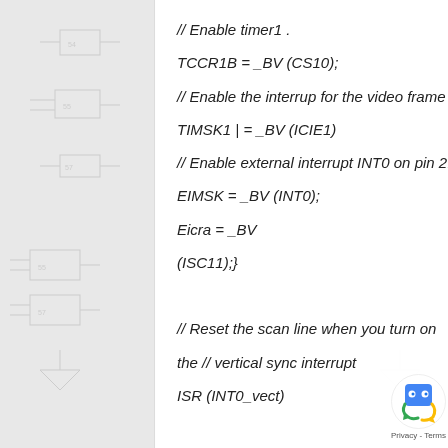[Figure (engineering-diagram): Circuit schematic background with logic gates, components, and wiring diagrams in light gray]
// Enable timer1 .
TCCR1B = _BV (CS10);
// Enable the interrup for the video frame capture
TIMSK1 | = _BV (ICIE1)
// Enable external interrupt INT0 on pin 2.
EIMSK = _BV (INT0);
Eicra = _BV
(ISC11);}
// Reset the scan line when you turn on the // vertical sync interrupt
ISR (INT0_vect)
[Figure (logo): Google reCAPTCHA badge with blue/green robot icon and Privacy - Terms text]